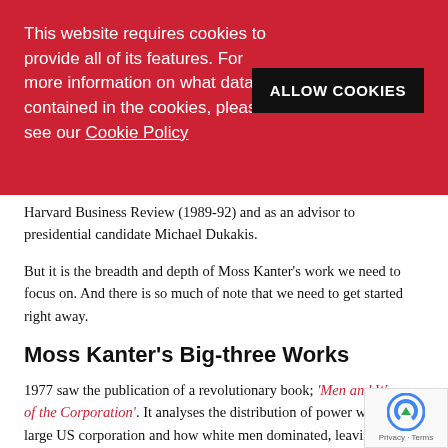This website requires cookies to provide all of its features. For more information on what data is contained in the cookies, please see our Cookie Policy
ALLOW COOKIES
Harvard Business Review (1989-92) and as an advisor to presidential candidate Michael Dukakis.
But it is the breadth and depth of Moss Kanter’s work we need to focus on. And there is so much of note that we need to get started right away.
Moss Kanter’s Big-three Works
1977 saw the publication of a revolutionary book; ‘Men and Women of the Corporation’. It analyses the distribution of power within a large US corporation and how white men dominated, leaving women and ethnic minorities